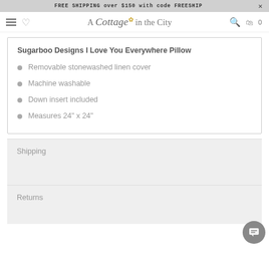FREE SHIPPING over $150 with code FREESHIP
[Figure (logo): A Cottage in the City logo with script and serif text and a small floral icon]
Sugarboo Designs I Love You Everywhere Pillow
Removable stonewashed linen cover
Machine washable
Down insert included
Measures 24" x 24"
Shipping
Returns